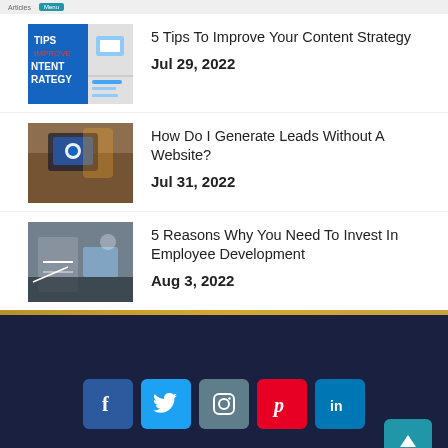[Figure (screenshot): Partial top navigation/header bar]
[Figure (photo): Thumbnail for '5 Tips To Improve Your Content Strategy' blog post]
5 Tips To Improve Your Content Strategy
Jul 29, 2022
[Figure (photo): Thumbnail for 'How Do I Generate Leads Without A Website?' blog post]
How Do I Generate Leads Without A Website?
Jul 31, 2022
[Figure (photo): Thumbnail for '5 Reasons Why You Need To Invest In Employee Development' blog post]
5 Reasons Why You Need To Invest In Employee Development
Aug 3, 2022
[Figure (infographic): Social media footer with Facebook, Twitter, Instagram, Pinterest, LinkedIn icons on dark navy background]